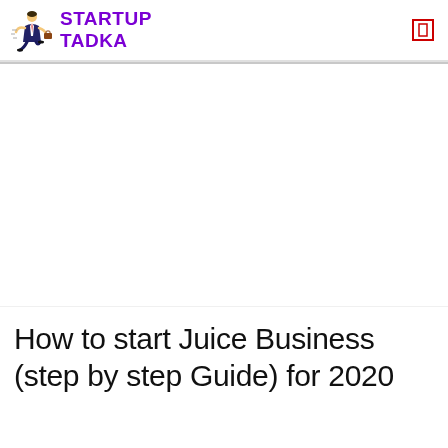STARTUP TADKA
[Figure (illustration): Large white/blank image placeholder area below the header]
How to start Juice Business (step by step Guide) for 2020